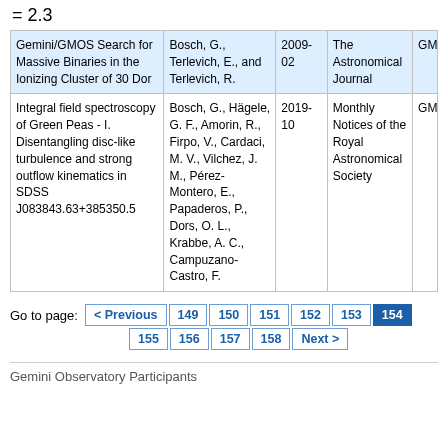= 2.3
| Title | Authors | Year | Journal | Program |
| --- | --- | --- | --- | --- |
| Gemini/GMOS Search for Massive Binaries in the Ionizing Cluster of 30 Dor | Bosch, G., Terlevich, E., and Terlevich, R. | 2009-02 | The Astronomical Journal | GMOS |
| Integral field spectroscopy of Green Peas - I. Disentangling disc-like turbulence and strong outflow kinematics in SDSS J083843.63+385350.5 | Bosch, G., Hägele, G. F., Amorin, R., Firpo, V., Cardaci, M. V., Vilchez, J. M., Pérez-Montero, E., Papaderos, P., Dors, O. L., Krabbe, A. C., Campuzano-Castro, F. | 2019-10 | Monthly Notices of the Royal Astronomical Society | GMOS |
Go to page: < Previous 149 150 151 152 153 154 155 156 157 158 Next >
Gemini Observatory Participants